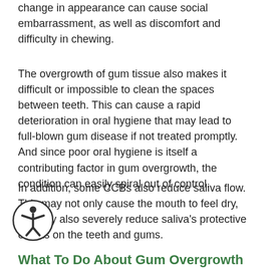change in appearance can cause social embarrassment, as well as discomfort and difficulty in chewing.
The overgrowth of gum tissue also makes it difficult or impossible to clean the spaces between teeth. This can cause a rapid deterioration in oral hygiene that may lead to full-blown gum disease if not treated promptly. And since poor oral hygiene is itself a contributing factor in gum overgrowth, the condition can easily spiral out of control.
In addition, some CCBs also reduce saliva flow. This may not only cause the mouth to feel dry, but may also severely reduce saliva's protective effects on the teeth and gums.
What To Do About Gum Overgrowth